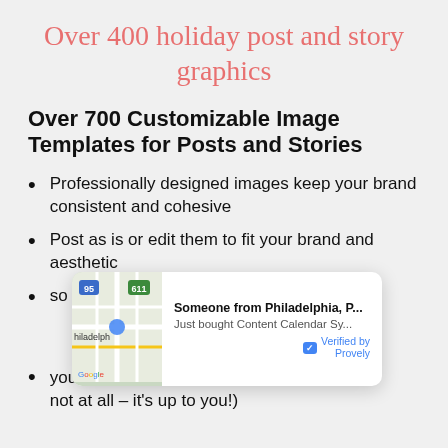Over 400 holiday post and story graphics
Over 700 Customizable Image Templates for Posts and Stories
Professionally designed images keep your brand consistent and cohesive
Post as is or edit them to fit your brand and aesthetic
[partially obscured by popup] …so you
[Figure (screenshot): Notification popup showing 'Someone from Philadelphia, P...' who 'Just bought Content Calendar Sy...' with a map thumbnail of Philadelphia and 'Verified by Provely' badge]
[partially visible] …you like (or not at all – it's up to you!)